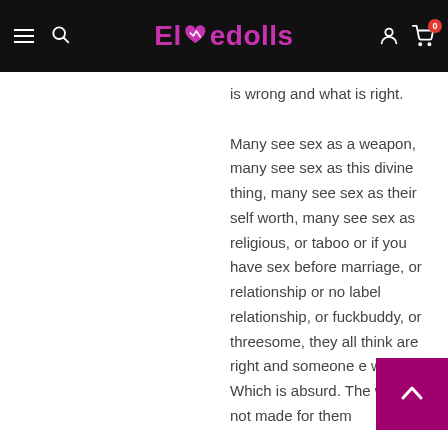Elovedolls
is wrong and what is right.

Many see sex as a weapon, many see sex as this divine thing, many see sex as their self worth, many see sex as religious, or taboo or if you have sex before marriage, or relationship or no label relationship, or fuckbuddy, or threesome, they all think are right and someone e wrong. Which is absurd. The world is not made for them